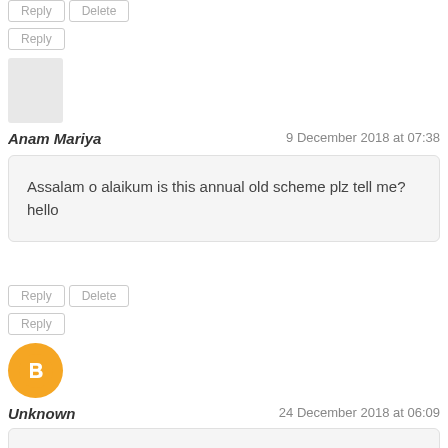Reply | Delete
Reply
[Figure (illustration): Gray placeholder avatar image]
Anam Mariya
9 December 2018 at 07:38
Assalam o alaikum is this annual old scheme plz tell me?hello
Reply | Delete
Reply
[Figure (logo): Blogger orange circle logo with B icon]
Unknown
24 December 2018 at 06:09
ya kon say board ki scheme ha